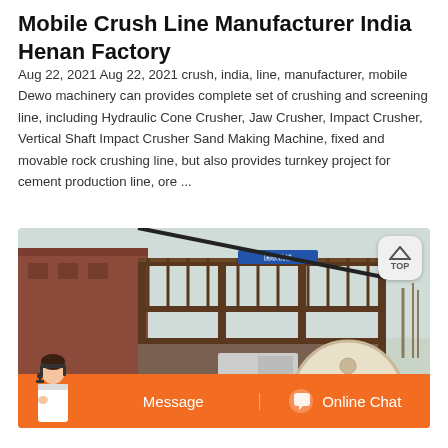Mobile Crush Line Manufacturer India Henan Factory
Aug 22, 2021 Aug 22, 2021 crush, india, line, manufacturer, mobile Dewo machinery can provides complete set of crushing and screening line, including Hydraulic Cone Crusher, Jaw Crusher, Impact Crusher, Vertical Shaft Impact Crusher Sand Making Machine, fixed and movable rock crushing line, but also provides turnkey project for cement production line, ore ...
[Figure (photo): Photograph of a mobile crushing line machine — an industrial jaw crusher unit with metal framework, stairs, railings, a blue sign, and a large cream-colored flywheel with red center hub in the foreground. Background shows a building and bare trees.]
Message   Online Chat